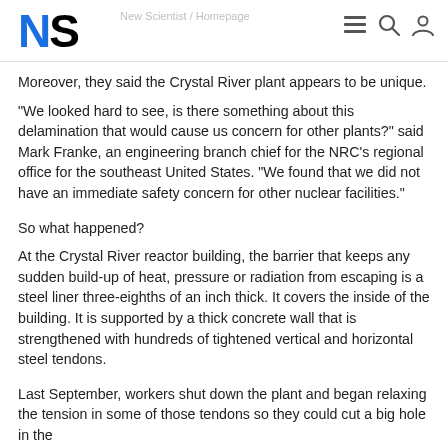NS
Moreover, they said the Crystal River plant appears to be unique.
"We looked hard to see, is there something about this delamination that would cause us concern for other plants?" said Mark Franke, an engineering branch chief for the NRC's regional office for the southeast United States. "We found that we did not have an immediate safety concern for other nuclear facilities."
So what happened?
At the Crystal River reactor building, the barrier that keeps any sudden build-up of heat, pressure or radiation from escaping is a steel liner three-eighths of an inch thick. It covers the inside of the building. It is supported by a thick concrete wall that is strengthened with hundreds of tightened vertical and horizontal steel tendons.
Last September, workers shut down the plant and began relaxing the tension in some of those tendons so they could cut a big hole in the